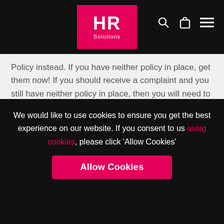HR Solutions
Policy instead. If you have neither policy in place, get them now! If you should receive a complaint and you still have neither policy in place, then you will need to refer to the ACAS Code of Conduct.
Once you are aware of an issue, whether the alleged victim(s) want you to take action or not, employers have an immediate duty of care to
Our website uses tracking technologies to learn how our visitors interact with our site so
We would like to use cookies to ensure you get the best experience on our website. If you consent to us using cookies, please click 'Allow Cookies'
Allow Cookies